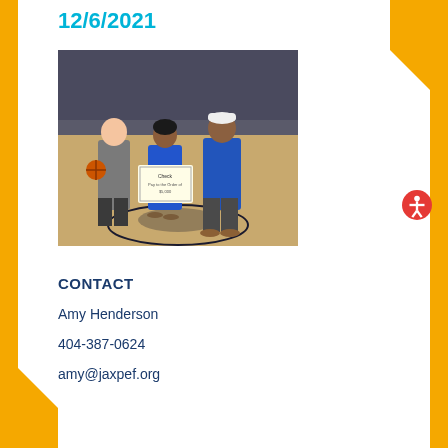12/6/2021
[Figure (photo): Three people standing on a basketball court. Left person holds a basketball, center person holds a large check, right person wears a blue polo shirt.]
CONTACT
Amy Henderson
404-387-0624
amy@jaxpef.org